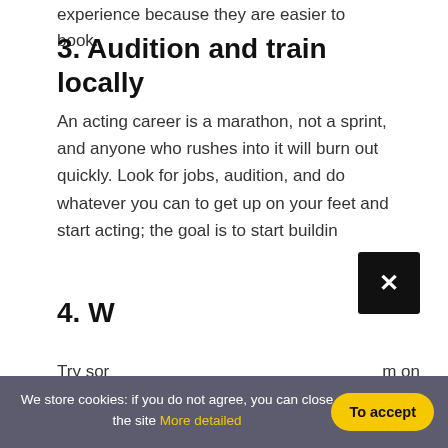experience because they are easier to book.
3. Audition and train locally
An acting career is a marathon, not a sprint, and anyone who rushes into it will burn out quickly. Look for jobs, audition, and do whatever you can to get up on your feet and start acting; the goal is to start buildin
4. W
Try sor
your re
resumе
m on
our
d you
We store cookies: if you do not agree, you can close the site More detailed
To accept